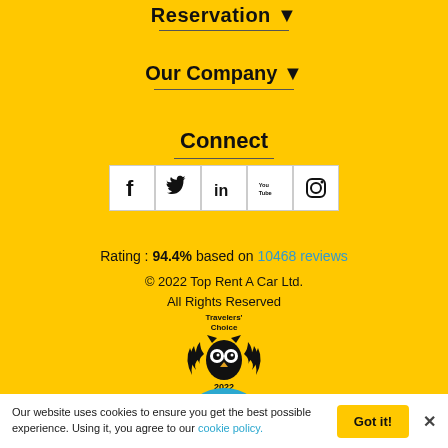Reservation ▼
Our Company ▼
Connect
[Figure (infographic): Social media icon buttons: Facebook, Twitter, LinkedIn, YouTube, Instagram in white square buttons]
Rating : 94.4% based on 10468 reviews
© 2022 Top Rent A Car Ltd. All Rights Reserved
[Figure (logo): TripAdvisor Travelers' Choice 2022 badge with owl logo and laurel wreath]
[Figure (illustration): Blue scroll-to-top button with chevron arrow]
Our website uses cookies to ensure you get the best possible experience. Using it, you agree to our cookie policy.